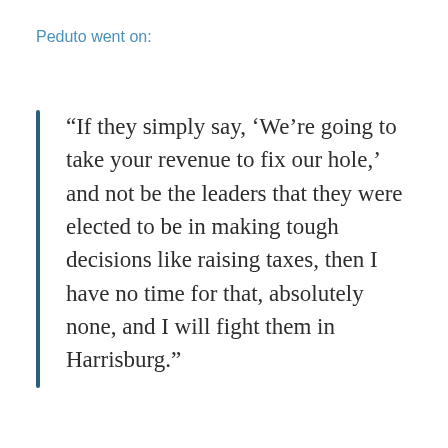Peduto went on:
“If they simply say, ‘We’re going to take your revenue to fix our hole,’ and not be the leaders that they were elected to be in making tough decisions like raising taxes, then I have no time for that, absolutely none, and I will fight them in Harrisburg.”